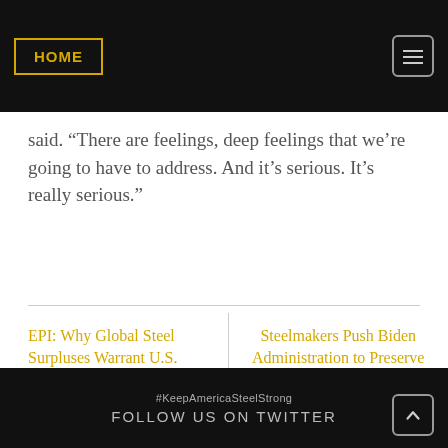HOME
said. “There are feelings, deep feelings that we’re going to have to address. And it’s serious. It’s really serious.”
EPI: Why Global Steel Surpluses Warrant U.S. Section 232 Import Measures
Steelmakers Push Biden Administration to Preserve Protective Trade Policies
#KeepAmericaSteelStrong FOLLOW US ON TWITTER